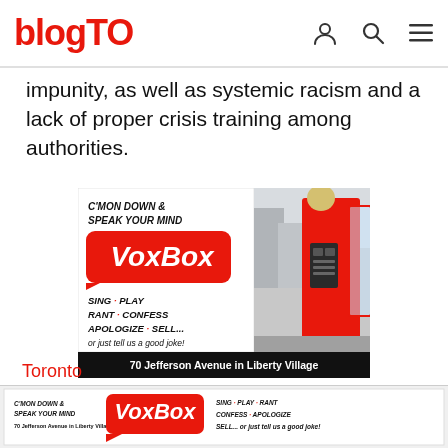blogTO
impunity, as well as systemic racism and a lack of proper crisis training among authorities.
[Figure (advertisement): VoxBox advertisement: C'MON DOWN & SPEAK YOUR MIND VoxBox SING · PLAY RANT · CONFESS APOLOGIZE · SELL... or just tell us a good joke! 70 Jefferson Avenue in Liberty Village. Right side shows photo of red kiosk booth on street.]
Toronto